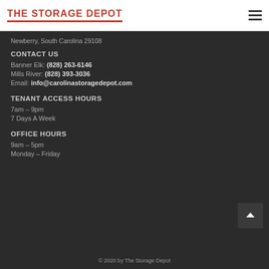THE STORAGE DEPOT
Newberry, South Carolina 29108
CONTACT US
Banner Elk: (828) 263-6146
Mills River: (828) 393-3036
Email: info@carolinastoragedepot.com
TENANT ACCESS HOURS
7am – 9pm
7 Days A Week
OFFICE HOURS
9am – 5pm
Monday – Friday
© 2020 by The Storage Depot